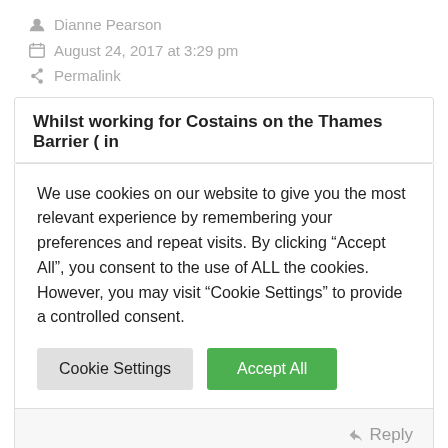Dianne Pearson
August 24, 2017 at 3:29 pm
Permalink
Whilst working for Costains on the Thames Barrier ( in
We use cookies on our website to give you the most relevant experience by remembering your preferences and repeat visits. By clicking “Accept All”, you consent to the use of ALL the cookies. However, you may visit “Cookie Settings” to provide a controlled consent.
Cookie Settings | Accept All
Reply
[Figure (illustration): User avatar placeholder circle with person silhouette icon in gray]
[Figure (illustration): Chevron/caret up arrow in teal/cyan color]